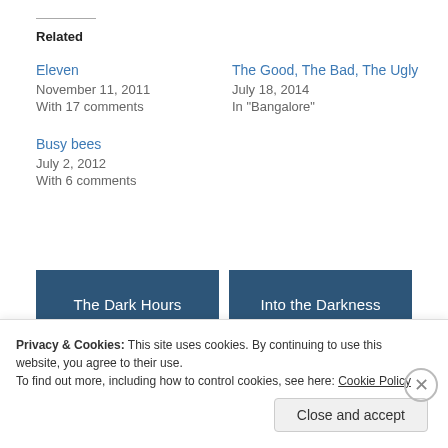Related
Eleven
November 11, 2011
With 17 comments
The Good, The Bad, The Ugly
July 18, 2014
In "Bangalore"
Busy bees
July 2, 2012
With 6 comments
[Figure (screenshot): Two dark blue navigation boxes at the bottom: 'The Dark Hours' on the left and 'Into the Darkness' on the right]
Privacy & Cookies: This site uses cookies. By continuing to use this website, you agree to their use.
To find out more, including how to control cookies, see here: Cookie Policy
Close and accept